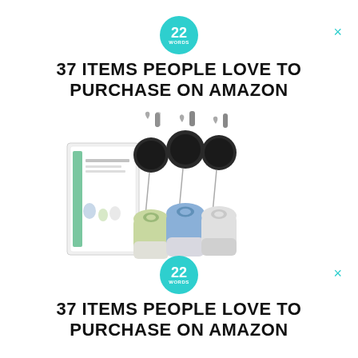[Figure (logo): 22 Words circular teal logo - top]
37 ITEMS PEOPLE LOVE TO PURCHASE ON AMAZON
[Figure (photo): Product photo of portable silicone travel bottles with retractable badge reel holders, in green, blue, and white, with product box]
[Figure (logo): 22 Words circular teal logo - bottom]
37 ITEMS PEOPLE LOVE TO PURCHASE ON AMAZON